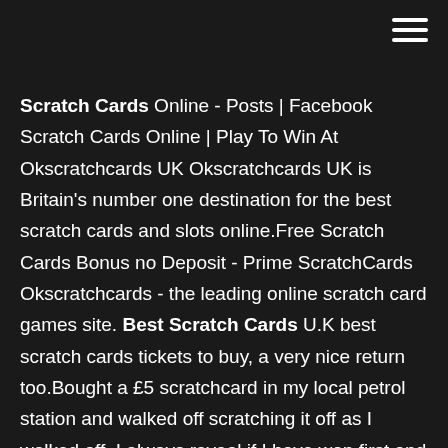Scratch Cards Online - Posts | Facebook Scratch Cards Online | Play To Win At Okscratchcards UK Okscratchcards UK is Britain's number one destination for the best scratch cards and slots online.Free Scratch Cards Bonus no Deposit - Prime ScratchCards Okscratchcards - the leading online scratch card games site. Best Scratch Cards U.K best scratch cards tickets to buy, a very nice return too.Bought a £5 scratchcard in my local petrol station and walked off scratching it off as I walked off. I always reveal if I have won first and then scratch off the prize ... Best Online Scratch Cards Best Online Scratch Cards. Real Money Scratchcards.Online scratch-card games offer the same sensation as winning money in online poker! Win-Scratch-Cards.com – Play Online and Win Jackpot Cash…